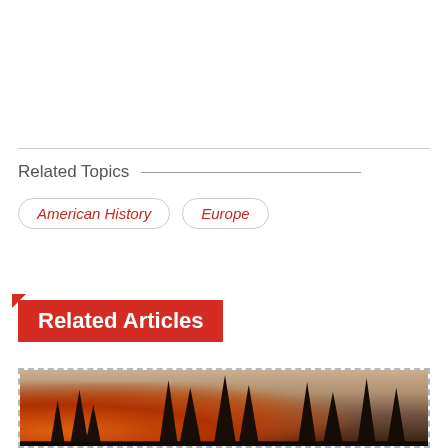Related Topics
American History
Europe
Related Articles
[Figure (photo): Forest fire scene with burning trees and smoky haze, silhouettes of tall pine trees against an orange-lit sky]